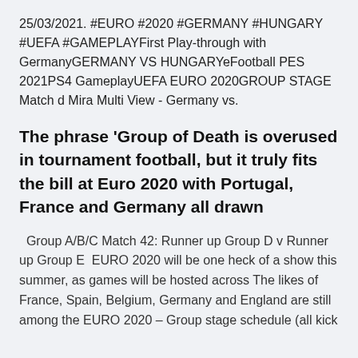25/03/2021. #EURO #2020 #GERMANY #HUNGARY #UEFA #GAMEPLAYFirst Play-through with GermanyGERMANY VS HUNGARYeFootball PES 2021PS4 GameplayUEFA EURO 2020GROUP STAGE Match d Mira Multi View - Germany vs.
The phrase 'Group of Death is overused in tournament football, but it truly fits the bill at Euro 2020 with Portugal, France and Germany all drawn
Group A/B/C Match 42: Runner up Group D v Runner up Group E  EURO 2020 will be one heck of a show this summer, as games will be hosted across The likes of France, Spain, Belgium, Germany and England are still among the EURO 2020 – Group stage schedule (all kick